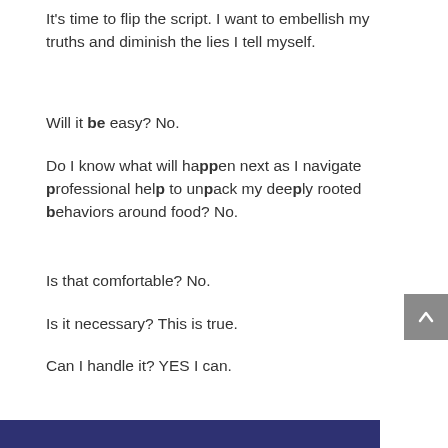It's time to flip the script. I want to embellish my truths and diminish the lies I tell myself.
Will it be easy? No.
Do I know what will happen next as I navigate professional help to unpack my deeply rooted behaviors around food? No.
Is that comfortable? No.
Is it necessary? This is true.
Can I handle it? YES I can.